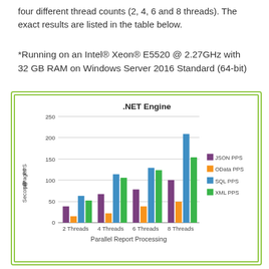four different thread counts (2, 4, 6 and 8 threads). The exact results are listed in the table below.
*Running on an Intel® Xeon® E5520 @ 2.27GHz with 32 GB RAM on Windows Server 2016 Standard (64-bit)
[Figure (grouped-bar-chart): .NET Engine]